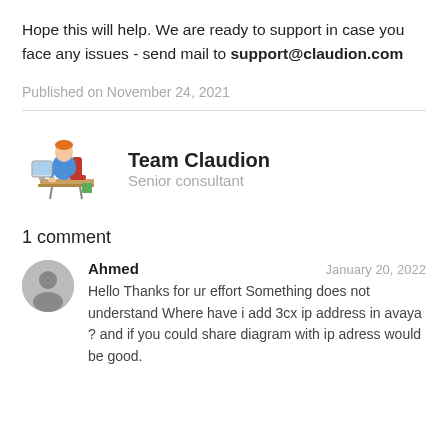Hope this will help. We are ready to support in case you face any issues - send mail to support@claudion.com
Published on November 24, 2021
[Figure (illustration): Cartoon illustration of a person sitting at a desk working on a computer]
Team Claudion
Senior consultant
1 comment
Ahmed
January 20, 2022
Hello Thanks for ur effort Something does not understand Where have i add 3cx ip address in avaya ? and if you could share diagram with ip adress would be good.